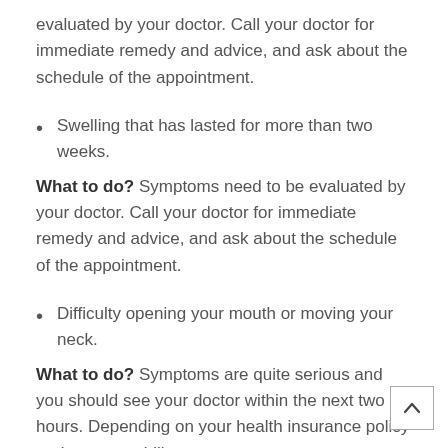evaluated by your doctor. Call your doctor for immediate remedy and advice, and ask about the schedule of the appointment.
Swelling that has lasted for more than two weeks.
What to do? Symptoms need to be evaluated by your doctor. Call your doctor for immediate remedy and advice, and ask about the schedule of the appointment.
Difficulty opening your mouth or moving your neck.
What to do? Symptoms are quite serious and you should see your doctor within the next two hours. Depending on your health insurance policy and your capability to